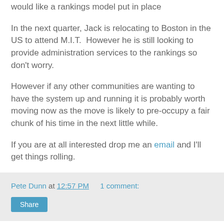would like a rankings model put in place
In the next quarter, Jack is relocating to Boston in the US to attend M.I.T.  However he is still looking to provide administration services to the rankings so don't worry.
However if any other communities are wanting to have the system up and running it is probably worth moving now as the move is likely to pre-occupy a fair chunk of his time in the next little while.
If you are at all interested drop me an email and I'll get things rolling.
Pete Dunn at 12:57 PM   1 comment:
Share
Quiet Times Here in The Empire
We have entered a period of quiet times here in New